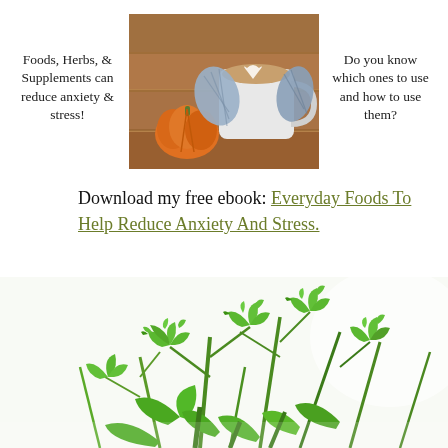Foods, Herbs, & Supplements can reduce anxiety & stress!
[Figure (photo): Overhead photo of a latte in a mug held by hands in knitted mittens, with a small pumpkin beside it on a wooden surface.]
Do you know which ones to use and how to use them?
Download my free ebook: Everyday Foods To Help Reduce Anxiety And Stress.
[Figure (photo): Close-up photo of fresh green cilantro/parsley herb leaves against a white background.]